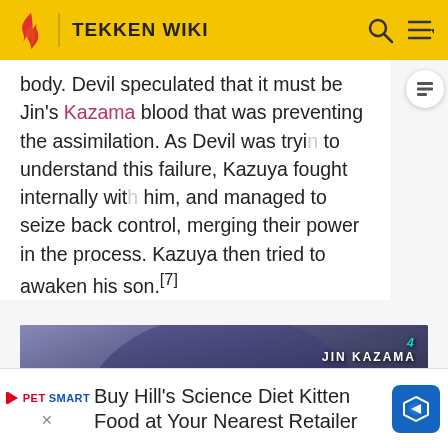TEKKEN WIKI
body. Devil speculated that it must be Jin's Kazama blood that was preventing the assimilation. As Devil was trying to understand this failure, Kazuya fought internally with him, and managed to seize back control, merging their power in the process. Kazuya then tried to awaken his son.[7]
[Figure (screenshot): Video thumbnail showing Jin Kazama character in a dark hooded outfit from Tekken 4, with a play button overlay. Text 'JIN KAZAMA' visible in upper right corner.]
Buy Hill's Science Diet Kitten Food at Your Nearest Retailer